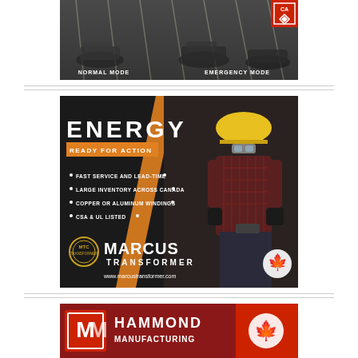[Figure (photo): Advertisement showing a garage/auto shop interior with cars, split into Normal Mode and Emergency Mode sections. A red CA (Canada) badge appears in top right corner.]
[Figure (infographic): Marcus Transformer advertisement. Black background with orange diagonal stripe and worker in hard hat. Text: ENERGY, READY FOR ACTION, bullet points: FAST SERVICE AND LEAD-TIME, LARGE INVENTORY ACROSS CANADA, COPPER OR ALUMINUM WINDINGS, CSA & UL LISTED. Logo: MTC Marcus Transformer. URL: www.marcustransformer.com. Made in Canada maple leaf logo.]
[Figure (infographic): Hammond Manufacturing advertisement. Dark red background with company logo (double M mark) and HAMMOND MANUFACTURING text with Canadian maple leaf.]